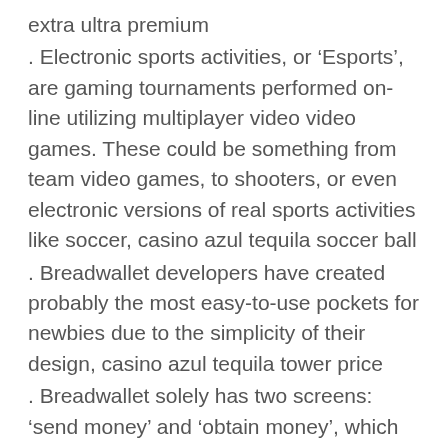extra ultra premium
. Electronic sports activities, or ‘Esports’, are gaming tournaments performed on-line utilizing multiplayer video video games. These could be something from team video games, to shooters, or even electronic versions of real sports activities like soccer, casino azul tequila soccer ball
. Breadwallet developers have created probably the most easy-to-use pockets for newbies due to the simplicity of their design, casino azul tequila tower price
. Breadwallet solely has two screens: ‘send money’ and ‘obtain money’, which makes it simpler to use than PayPal. How to Bet with Bitcoin, casino azul anejo extra ultra premium
. Not everyone knows how to bet with Bitcoin. Then everything is somewhat easy: coins are despatched to the account of the person you want to give internet...